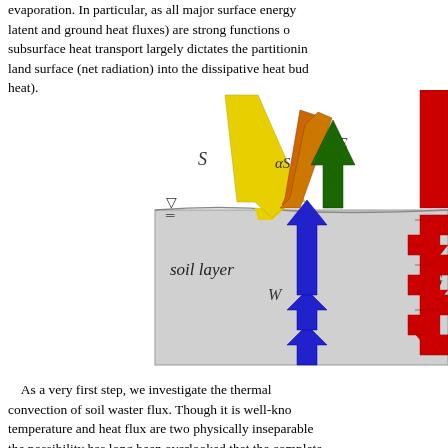evaporation. In particular, as all major surface energy (latent and ground heat fluxes) are strong functions of subsurface heat transport largely dictates the partitioning of land surface (net radiation) into the dissipative heat budgets (heat).
[Figure (schematic): Soil energy balance schematic diagram showing incoming solar radiation S (yellow arrow down), reflected radiation αS (orange arrow up), latent heat flux λE (dark green arrow up), sensible heat H (red arrow up, partially cut off), ground heat flux G (red arrows down into soil layer, partially cut off), and soil water flux W (blue arrows up within soil layer). A water table symbol is shown at the soil surface. The soil layer box is labeled 'soil layer'.]
As a very first step, we investigate the thermal convection of soil waster flux. Though it is well-known temperature and heat flux are two physically inseparable the possibility has long been overlooked that the complete